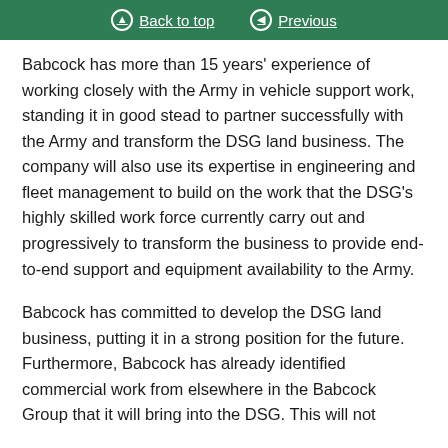Back to top | Previous
Babcock has more than 15 years' experience of working closely with the Army in vehicle support work, standing it in good stead to partner successfully with the Army and transform the DSG land business. The company will also use its expertise in engineering and fleet management to build on the work that the DSG's highly skilled work force currently carry out and progressively to transform the business to provide end-to-end support and equipment availability to the Army.
Babcock has committed to develop the DSG land business, putting it in a strong position for the future. Furthermore, Babcock has already identified commercial work from elsewhere in the Babcock Group that it will bring into the DSG. This will not